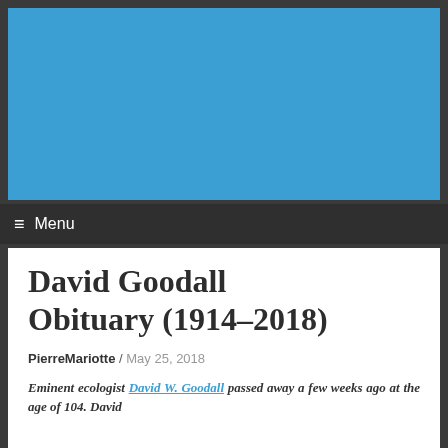[Figure (other): Blue header banner/image placeholder for the website]
≡ Menu
David Goodall Obituary (1914–2018)
PierreMariotte / May 25, 2018
Eminent ecologist David W. Goodall passed away a few weeks ago at the age of 104. David